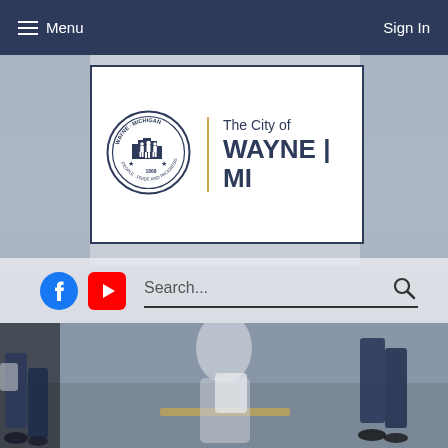Menu   Sign In
[Figure (logo): City of Wayne Michigan official seal and logo. Circular seal with figures and text 'WAYNE MICHIGAN PEOPLE PRIDE AND PROGRESS'. Text reads 'The City of WAYNE | MI']
Search...